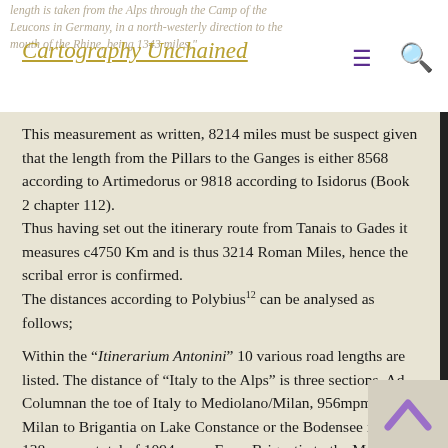Cartography Unchained
This measurement as written, 8214 miles must be suspect given that the length from the Pillars to the Ganges is either 8568 according to Artimedorus or 9818 according to Isidorus (Book 2 chapter 112).
Thus having set out the itinerary route from Tanais to Gades it measures c4750 Km and is thus 3214 Roman Miles, hence the scribal error is confirmed.
The distances according to Polybius¹² can be analysed as follows;
Within the “Itinerarium Antonini” 10 various road lengths are listed. The distance of “Italy to the Alps” is three sections, Ad Columnan the toe of Italy to Mediolano/Milan, 956mpm. From Milan to Brigantia on Lake Constance or the Bodensee is 138mpm, a total of 1094mpm. From Brigantia to the Mouth of the Rhine is another route, and